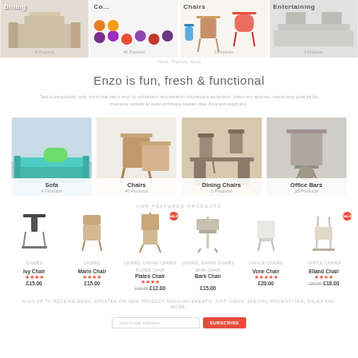[Figure (photo): Hero banner with four furniture category panels: Dining, Colorful seating collection, Chairs, Entertaining/Living]
Enzo is fun, fresh & functional
Sed ut perspiciatis unde omnis iste natus error sit voluptatem accusantium doloremque audantium, totam rem aperiam, eaque ipsa quae ab illo inventore veritatis et quasi architecto beatae vitae dicta sunt explicabo.
[Figure (photo): Category grid: Sofa (4 Products), Chairs (40 Products), Dining Chairs (5 Products), Office Bars (15 Products)]
OUR FEATURED PRODUCTS
[Figure (photo): Product grid: Ivy Chair £15.00, Marie Chair £15.00, Plates Chair (SALE) £16.00 £12.00, Bark Chair £15.00, Vone Chair £20.00, Elland Chair (SALE) £29.00 £18.00]
SIGN UP TO RECEIVE EMAIL UPDATES ON NEW PRODUCT ANNOUNCEMENTS, GIFT IDEAS, SPECIAL PROMOTIONS, SALES AND MORE.
Your email address